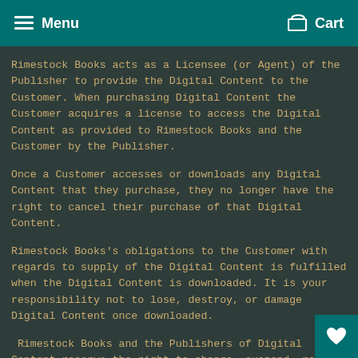Menu  Cart
Rimestock Books acts as a Licensee (or Agent) of the Publisher to provide the Digital Content to the Customer. When purchasing Digital Content the Customer acquires a license to access the Digital Content as provided to Rimestock Books and the Customer by the Publisher.
Once a Customer accesses or downloads any Digital Content that they purchase, they no longer have the right to cancel their purchase of that Digital Content.
Rimestock Books's obligations to the Customer with regards to supply of the Digital Content is fulfilled when the Digital Content is downloaded. It is your responsibility not to lose, destroy, or damage Digital Content once downloaded.
Rimestock Books and the Publishers of Digital Content reserve the right to change, suspend, remove or disab... any Digital Content...